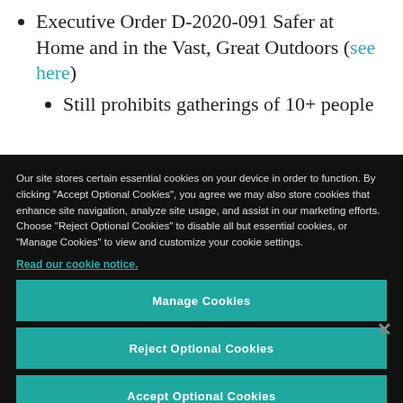Executive Order D-2020-091 Safer at Home and in the Vast, Great Outdoors (see here)
Still prohibits gatherings of 10+ people
Our site stores certain essential cookies on your device in order to function. By clicking “Accept Optional Cookies”, you agree we may also store cookies that enhance site navigation, analyze site usage, and assist in our marketing efforts. Choose “Reject Optional Cookies” to disable all but essential cookies, or “Manage Cookies” to view and customize your cookie settings.
Read our cookie notice.
Manage Cookies
Reject Optional Cookies
Accept Optional Cookies